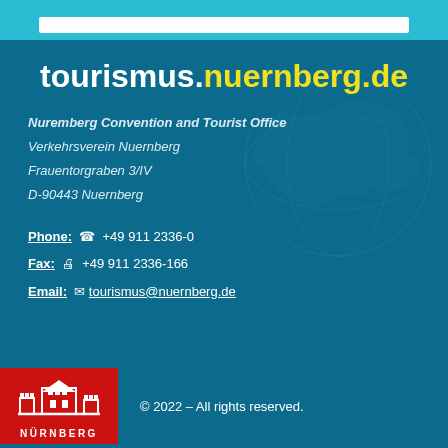tourismus.nuernberg.de
Nuremberg Convention and Tourist Office
Verkehrsverein Nuernberg
Frauentorgraben 3/IV
D-90443 Nuernberg
Phone: +49 911 2336-0
Fax: +49 911 2336-166
Email: tourismus@nuernberg.de
[Figure (logo): Nürnberg city logo — red background with white castle silhouette and NÜRNBERG text]
© 2022 – All rights reserved.
Contact   Sitemap   Imprint   Terms of Business   Data Protection   Search